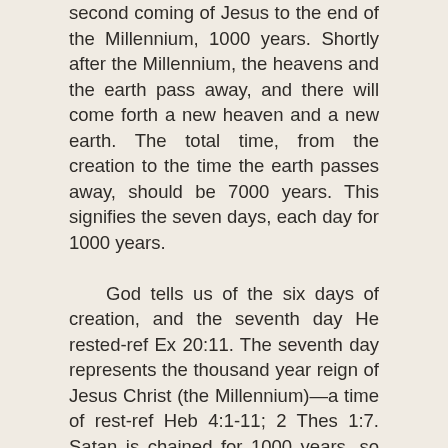second coming of Jesus to the end of the Millennium, 1000 years. Shortly after the Millennium, the heavens and the earth pass away, and there will come forth a new heaven and a new earth. The total time, from the creation to the time the earth passes away, should be 7000 years. This signifies the seven days, each day for 1000 years.

God tells us of the six days of creation, and the seventh day He rested-ref Ex 20:11. The seventh day represents the thousand year reign of Jesus Christ (the Millennium)—a time of rest-ref Heb 4:1-11; 2 Thes 1:7. Satan is chained for 1000 years, so he can deceive the nations no